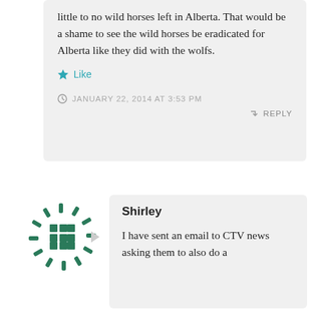little to no wild horses left in Alberta. That would be a shame to see the wild horses be eradicated for Alberta like they did with the wolfs.
Like
JANUARY 22, 2014 AT 3:53 PM
REPLY
Shirley
I have sent an email to CTV news asking them to also do a